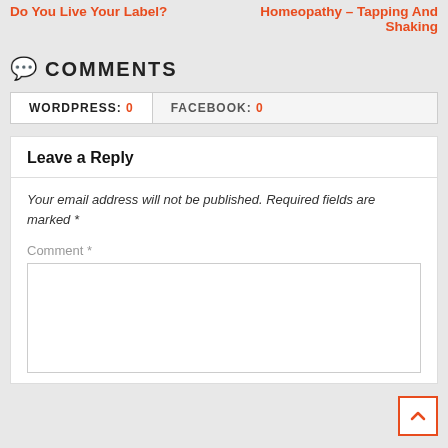Do You Live Your Label?
Homeopathy – Tapping And Shaking
💬 COMMENTS
WORDPRESS: 0   FACEBOOK: 0
Leave a Reply
Your email address will not be published. Required fields are marked *
Comment *